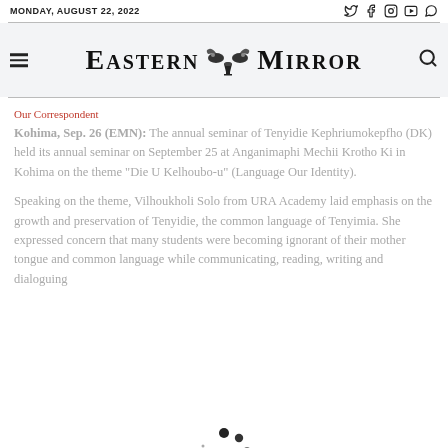MONDAY, AUGUST 22, 2022
[Figure (logo): Eastern Mirror newspaper masthead logo with decorative emblem between 'Eastern' and 'Mirror']
Our Correspondent
Kohima, Sep. 26 (EMN): The annual seminar of Tenyidie Kephriumokepfho (DK) held its annual seminar on September 25 at Anganimaphi Mechii Krotho Ki in Kohima on the theme 'Die U Kelhoubo-u' (Language Our Identity).
Speaking on the theme, Vilhoukholi Solo from URA Academy laid emphasis on the growth and preservation of Tenyidie, the common language of Tenyimia. She expressed concern that many students were becoming ignorant of their mother tongue and common language while communicating, reading, writing and dialoguing